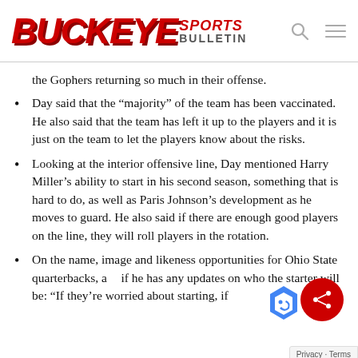[Figure (logo): Buckeye Sports Bulletin logo in red italic bold text with search and menu icons]
the Gophers returning so much in their offense.
Day said that the “majority” of the team has been vaccinated. He also said that the team has left it up to the players and it is just on the team to let the players know about the risks.
Looking at the interior offensive line, Day mentioned Harry Miller’s ability to start in his second season, something that is hard to do, as well as Paris Johnson’s development as he moves to guard. He also said if there are enough good players on the line, they will roll players in the rotation.
On the name, image and likeness opportunities for Ohio State quarterbacks, asked if he has any updates on who the starter will be: “If they’re worried about starting, if